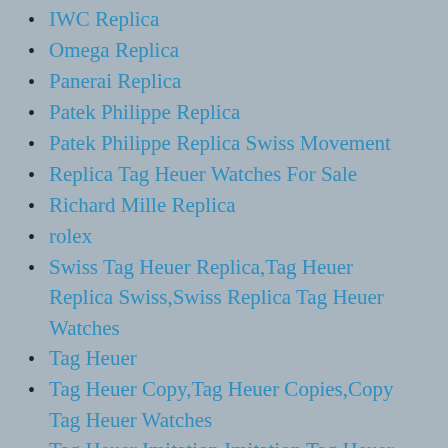IWC Replica
Omega Replica
Panerai Replica
Patek Philippe Replica
Patek Philippe Replica Swiss Movement
Replica Tag Heuer Watches For Sale
Richard Mille Replica
rolex
Swiss Tag Heuer Replica,Tag Heuer Replica Swiss,Swiss Replica Tag Heuer Watches
Tag Heuer
Tag Heuer Copy,Tag Heuer Copies,Copy Tag Heuer Watches
Tag Heuer Imitation,Imitation Tag Heuer Watches For Sale
Tag Heuer Replica